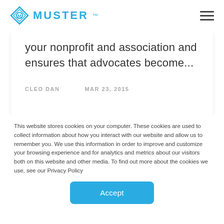MUSTER
your nonprofit and association and ensures that advocates become...
CLEO DAN    MAR 23, 2015
This website stores cookies on your computer. These cookies are used to collect information about how you interact with our website and allow us to remember you. We use this information in order to improve and customize your browsing experience and for analytics and metrics about our visitors both on this website and other media. To find out more about the cookies we use, see our Privacy Policy
Accept